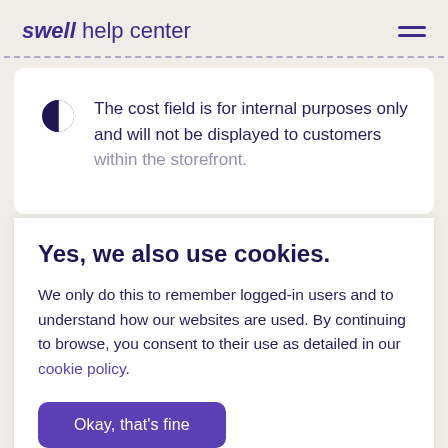swell help center
The cost field is for internal purposes only and will not be displayed to customers within the storefront.
Yes, we also use cookies.
We only do this to remember logged-in users and to understand how our websites are used. By continuing to browse, you consent to their use as detailed in our cookie policy.
Okay, that's fine